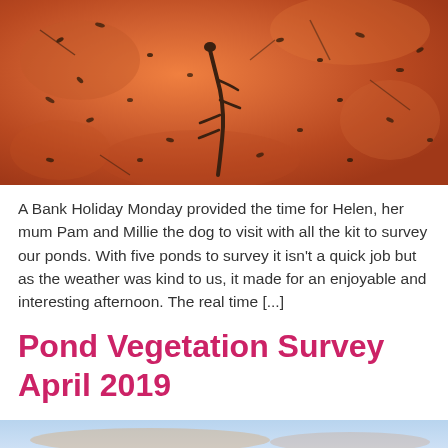[Figure (photo): Close-up photo of pond survey contents in an orange bucket: a larva/newt larva and many small aquatic invertebrates visible against an orange background]
A Bank Holiday Monday provided the time for Helen, her mum Pam and Millie the dog to visit with all the kit to survey our ponds. With five ponds to survey it isn't a quick job but as the weather was kind to us, it made for an enjoyable and interesting afternoon. The real time [...]
Pond Vegetation Survey April 2019
[Figure (photo): Bottom strip of a photo showing a light blue pond/water surface]